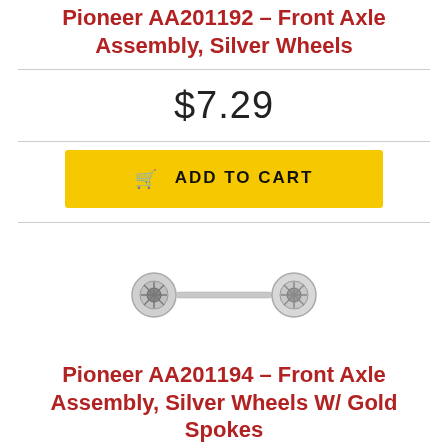Pioneer AA201192 – Front Axle Assembly, Silver Wheels
$7.29
ADD TO CART
[Figure (photo): Product photo of a model front axle assembly with silver wheels, a small metal rod with wheel hubs on each end]
Pioneer AA201194 – Front Axle Assembly, Silver Wheels W/ Gold Spokes
$7.29